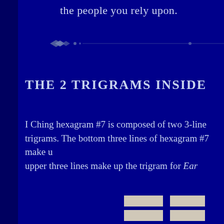the people you rely upon.
[Figure (illustration): Decorative divider with diamond shapes and dots on a dark navy background]
THE 2 TRIGRAMS INSIDE
I Ching hexagram #7 is composed of two 3-line trigrams. The bottom three lines of hexagram #7 make up the trigram for Water. The upper three lines make up the trigram for Earth.
[Figure (illustration): Partial view of I Ching hexagram lines shown as horizontal bars at the bottom of the page]